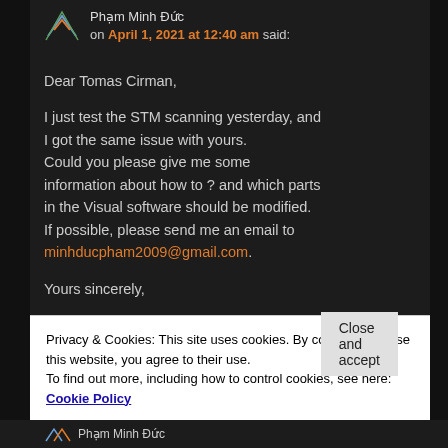Phạm Minh Đức on April 1, 2021 at 12:40 am said:
Dear Tomas Cirman,

I just test the STM scanning yesterday, and I got the same issue with yours. Could you please give me some information about how to ? and which parts in the Visual software should be modified. If possible, please send me an email to minhducpham2009@gmail.com.

Yours sincerely,
Privacy & Cookies: This site uses cookies. By continuing to use this website, you agree to their use.
To find out more, including how to control cookies, see here: Cookie Policy
Close and accept
Phạm Minh Đức